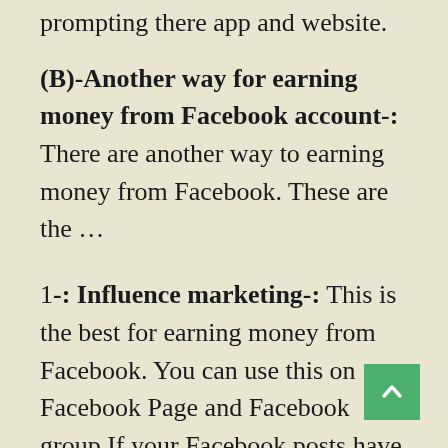prompting there app and website.
(B)-Another way for earning money from Facebook account-: There are another way to earning money from Facebook. These are the …
1-: Influence marketing-: This is the best for earning money from Facebook. You can use this on Facebook Page and Facebook group.If your Facebook posts have decent likes and comments.You can  becoming an